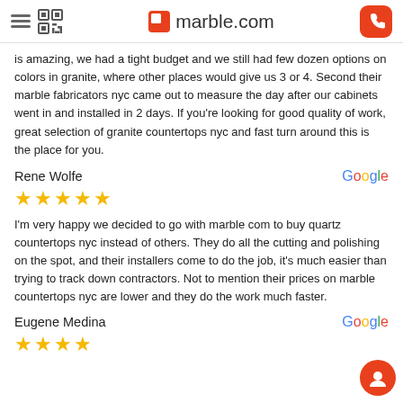marble.com
is amazing, we had a tight budget and we still had few dozen options on colors in granite, where other places would give us 3 or 4. Second their marble fabricators nyc came out to measure the day after our cabinets went in and installed in 2 days. If you're looking for good quality of work, great selection of granite countertops nyc and fast turn around this is the place for you.
Rene Wolfe
[Figure (other): Five gold star rating]
I'm very happy we decided to go with marble com to buy quartz countertops nyc instead of others. They do all the cutting and polishing on the spot, and their installers come to do the job, it's much easier than trying to track down contractors. Not to mention their prices on marble countertops nyc are lower and they do the work much faster.
Eugene Medina
[Figure (other): Four gold star rating (partial fifth)]